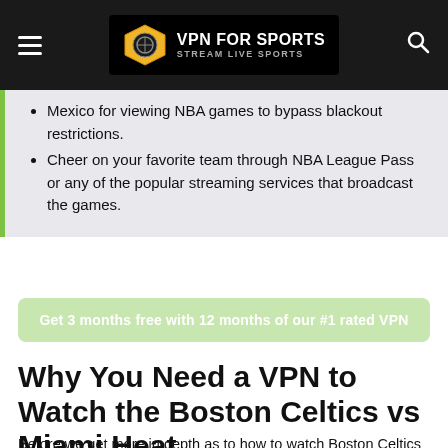VPN FOR SPORTS – STREAM LIVE SPORTS
Mexico for viewing NBA games to bypass blackout restrictions.
Cheer on your favorite team through NBA League Pass or any of the popular streaming services that broadcast the games.
Get 3 months free with 12 months of our #1 rated VPN
Why You Need a VPN to Watch the Boston Celtics vs Miami Heat
Before we get more in depth as to how to watch Boston Celtics